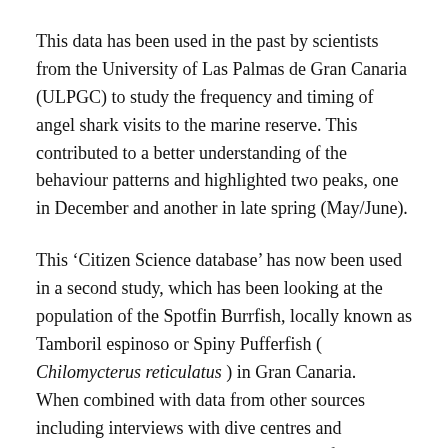This data has been used in the past by scientists from the University of Las Palmas de Gran Canaria (ULPGC) to study the frequency and timing of angel shark visits to the marine reserve. This contributed to a better understanding of the behaviour patterns and highlighted two peaks, one in December and another in late spring (May/June).
This ‘Citizen Science database’ has now been used in a second study, which has been looking at the population of the Spotfin Burrfish, locally known as Tamboril espinoso or Spiny Pufferfish ( Chilomycterus reticulatus ) in Gran Canaria.   When combined with data from other sources including interviews with dive centres and specialists, the scientists in the Faculty of Marine Sciences  at ULPGC have confirmed that the population of the Spiny Pufferfish has been increasing with encounters by recreational scuba divers on Gran Canaria